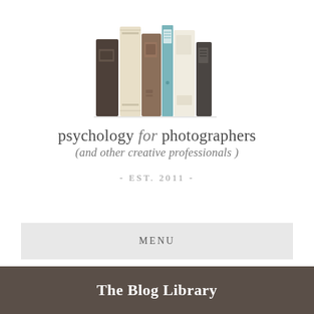[Figure (logo): Illustration of several books standing upright on a shelf, in muted colors: dark brown, cream/beige, brown, teal/blue, white, and dark charcoal]
psychology for photographers
(and other creative professionals)
- EST. 2011 -
MENU
The Blog Library